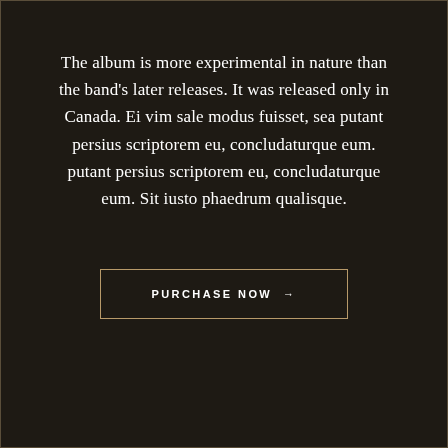The album is more experimental in nature than the band's later releases. It was released only in Canada. Ei vim sale modus fuisset, sea putant persius scriptorem eu, concludaturque eum. putant persius scriptorem eu, concludaturque eum. Sit iusto phaedrum qualisque.
PURCHASE NOW →